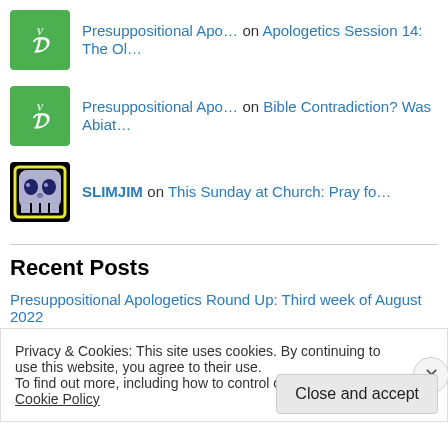Presuppositional Apo… on Apologetics Session 14: The Ol…
Presuppositional Apo… on Bible Contradiction? Was Abiat…
SLIMJIM on This Sunday at Church: Pray fo…
Recent Posts
Presuppositional Apologetics Round Up: Third week of August 2022
This Sunday at Church: Pray for the salvation of any unbeliever hearing
Privacy & Cookies: This site uses cookies. By continuing to use this website, you agree to their use.
To find out more, including how to control cookies, see here: Cookie Policy
Close and accept